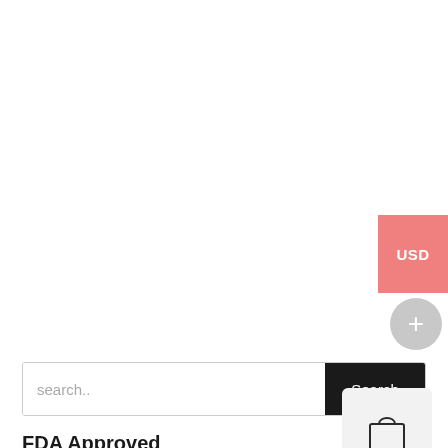[Figure (screenshot): USD currency button (salmon/pink color), partially cut off at right edge of page]
[Figure (screenshot): Circular gray button with plus (+) symbol]
[Figure (screenshot): Search bar with placeholder text 'search..' and a dark 'Search' button on the right]
FDA Approved
[Figure (illustration): Shopping bag icon inside a light gray rounded square box]
[Figure (screenshot): Language selector dropdown showing 'English' with a chevron/down arrow]